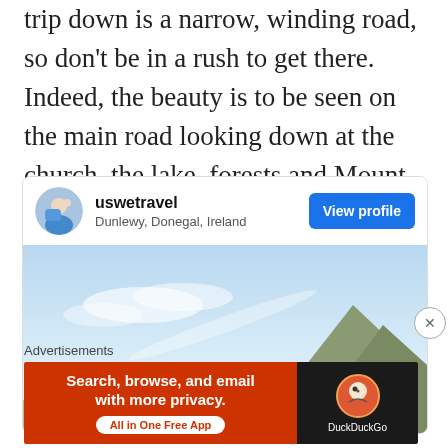trip down is a narrow, winding road, so don't be in a rush to get there. Indeed, the beauty is to be seen on the main road looking down at the church, the lake, forests and Mount Errigal is your backdrop!
[Figure (screenshot): Social media profile card for 'uswetravel' located in Dunlewy, Donegal, Ireland with a 'View profile' button and a photo of Mount Errigal under a blue sky]
Advertisements
[Figure (screenshot): DuckDuckGo advertisement banner: 'Search, browse, and email with more privacy. All in One Free App' with DuckDuckGo logo on dark background]